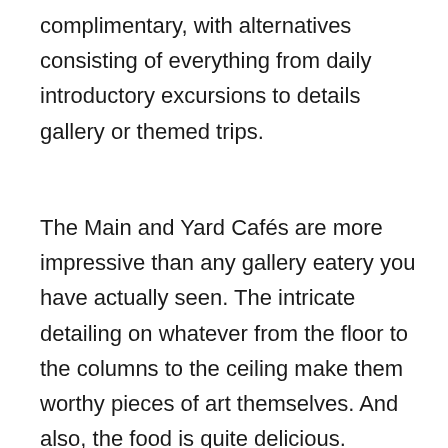complimentary, with alternatives consisting of everything from daily introductory excursions to details gallery or themed trips.
The Main and Yard Cafés are more impressive than any gallery eatery you have actually seen. The intricate detailing on whatever from the floor to the columns to the ceiling make them worthy pieces of art themselves. And also, the food is quite delicious.